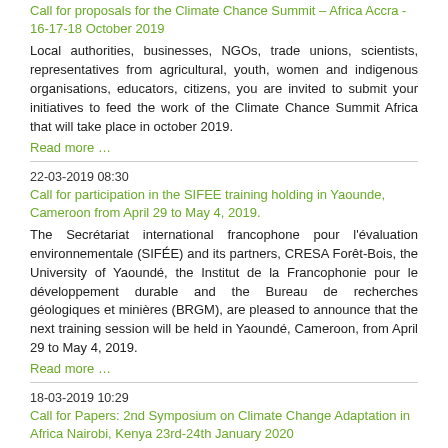Call for proposals for the Climate Chance Summit – Africa Accra - 16-17-18 October 2019
Local authorities, businesses, NGOs, trade unions, scientists, representatives from agricultural, youth, women and indigenous organisations, educators, citizens, you are invited to submit your initiatives to feed the work of the Climate Chance Summit Africa that will take place in october 2019.
Read more …
22-03-2019 08:30
Call for participation in the SIFEE training holding in Yaounde, Cameroon from April 29 to May 4, 2019.
The Secrétariat international francophone pour l'évaluation environnementale (SIFÉE) and its partners, CRESA Forêt-Bois, the University of Yaoundé, the Institut de la Francophonie pour le développement durable and the Bureau de recherches géologiques et minières (BRGM), are pleased to announce that the next training session will be held in Yaoundé, Cameroon, from April 29 to May 4, 2019.
Read more …
18-03-2019 10:29
Call for Papers: 2nd Symposium on Climate Change Adaptation in Africa Nairobi, Kenya 23rd-24th January 2020
Last but not least, a further aim of the event will be to document and disseminate the wealth of experiences available today. To this purpose, the "African Handbook of Climate Change  Adaptation: learning, sharing and advancing efforts to promote climate change adaptation in Africa"  will be published, with all accepted papers. This will be a further volume of the award-winning  book series "Climate Change Management" ...
Read more …
12-03-2019 09:57